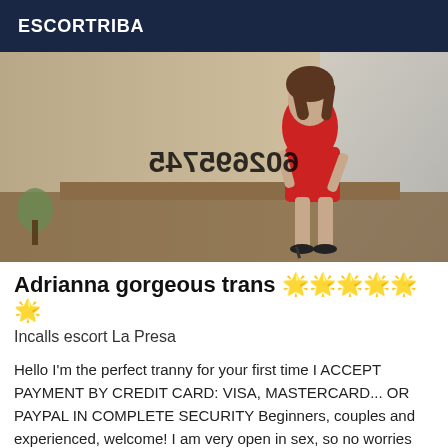ESCORTRIBA
[Figure (photo): Woman in red dress and black high heels posing indoors, with mirrored phone number watermark overlay reading 602695745]
Adrianna gorgeous trans 🌟🌟🌟🌟🌟🌟
Incalls escort La Presa
Hello I'm the perfect tranny for your first time I ACCEPT PAYMENT BY CREDIT CARD: VISA, MASTERCARD... OR PAYPAL IN COMPLETE SECURITY Beginners, couples and experienced, welcome! I am very open in sex, so no worries about kissing, blowjob and penetration. We can do it all. My photos are real, I'm